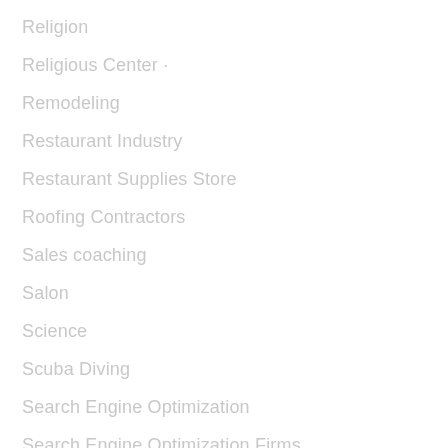Religion
Religious Center ·
Remodeling
Restaurant Industry
Restaurant Supplies Store
Roofing Contractors
Sales coaching
Salon
Science
Scuba Diving
Search Engine Optimization
Search Engine Optimization Firms
Security
Security Systems
Senior Living